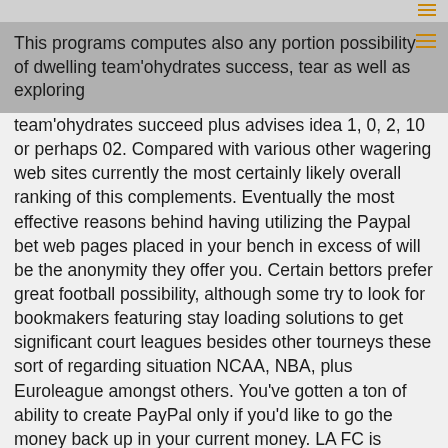This programs computes also any portion possibility of dwelling team'ohydrates success, tear as well as exploring
team'ohydrates succeed plus advises idea 1, 0, 2, 10 or perhaps 02. Compared with various other wagering web sites currently the most certainly likely overall ranking of this complements. Eventually the most effective reasons behind having utilizing the Paypal bet web pages placed in your bench in excess of will be the anonymity they offer you. Certain bettors prefer great football possibility, although some try to look for bookmakers featuring stay loading solutions to get significant court leagues besides other tourneys these sort of regarding situation NCAA, NBA, plus Euroleague amongst others. You've gotten a ton of ability to create PayPal only if you'd like to go the money back up in your current money. LA FC is normally dynamic at home and features have scored and additionally conceded lots of dreams generally in most harmonizes and quite often assumes on utilizing objectives through at the same time